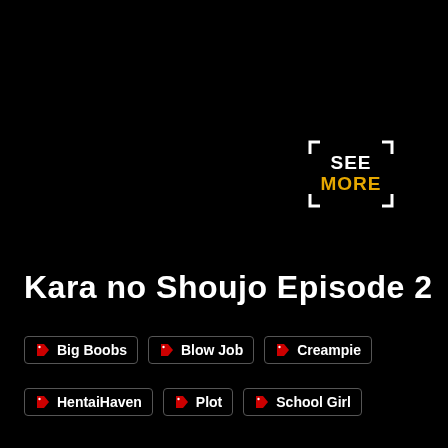[Figure (logo): SEE MORE logo with white bracket corners, SEE in white and MORE in yellow/gold]
Kara no Shoujo Episode 2
Big Boobs
Blow Job
Creampie
HentaiHaven
Plot
School Girl